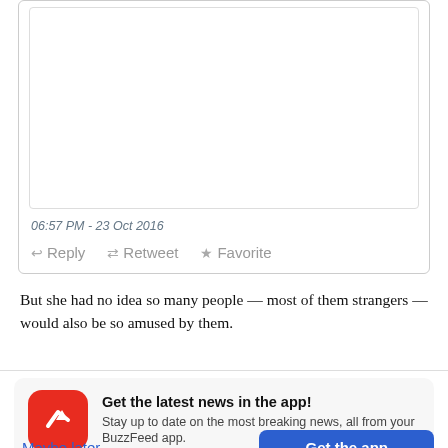[Figure (screenshot): Embedded tweet card with empty white image area, timestamp, and action buttons]
06:57 PM - 23 Oct 2016
↩ Reply  ↺ Retweet  ★ Favorite
But she had no idea so many people — most of them strangers — would also be so amused by them.
Get the latest news in the app! Stay up to date on the most breaking news, all from your BuzzFeed app.
Maybe later
Get the app